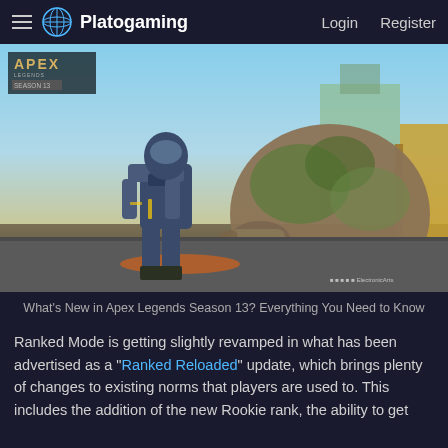Platogaming  Login  Register
[Figure (screenshot): Apex Legends Season 13 in-game screenshot showing an armored character standing in front of a large creature, with Electronic Arts watermark in the bottom right.]
What's New in Apex Legends Season 13? Everything You Need to Know
Ranked Mode is getting slightly revamped in what has been advertised as a "Ranked Reloaded" update, which brings plenty of changes to existing norms that players are used to. This includes the addition of the new Rookie rank, the ability to get demoted, and RP for Assists.